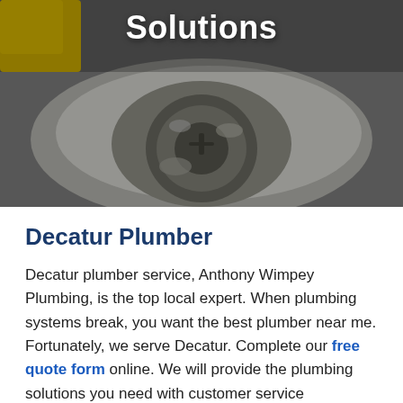[Figure (photo): Close-up photograph of a dirty stainless steel sink drain with mineral deposits and grime, with a yellow object visible in the upper left corner. The word 'Solutions' is overlaid in large white bold text at the top.]
Decatur Plumber
Decatur plumber service, Anthony Wimpey Plumbing, is the top local expert. When plumbing systems break, you want the best plumber near me. Fortunately, we serve Decatur. Complete our free quote form online. We will provide the plumbing solutions you need with customer service